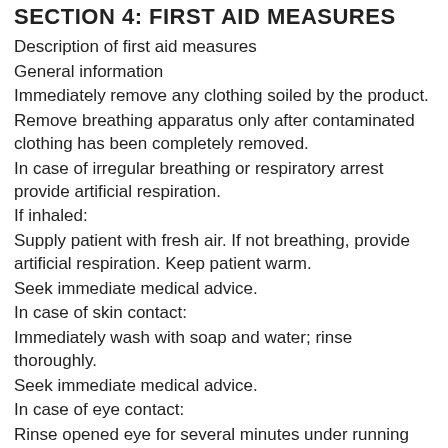SECTION 4: FIRST AID MEASURES
Description of first aid measures
General information
Immediately remove any clothing soiled by the product.
Remove breathing apparatus only after contaminated clothing has been completely removed.
In case of irregular breathing or respiratory arrest provide artificial respiration.
If inhaled:
Supply patient with fresh air. If not breathing, provide artificial respiration. Keep patient warm.
Seek immediate medical advice.
In case of skin contact:
Immediately wash with soap and water; rinse thoroughly.
Seek immediate medical advice.
In case of eye contact:
Rinse opened eye for several minutes under running water.